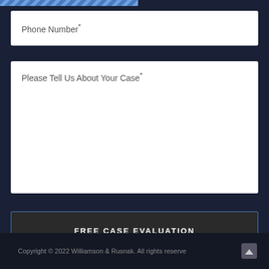Phone Number*
Please Tell Us About Your Case*
FREE CASE EVALUATION
Copyright © 2022 Williamson & Rusnak. All rights reserved.